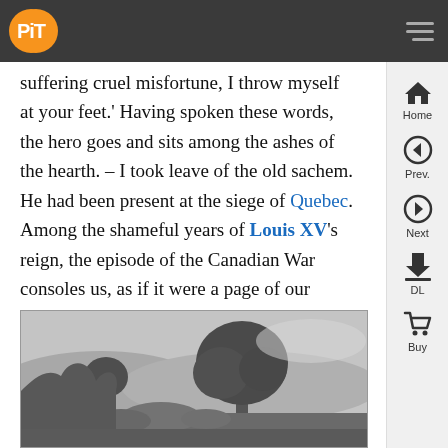PiT [logo] navigation bar with hamburger menu
suffering cruel misfortune, I throw myself at your feet.' Having spoken these words, the hero goes and sits among the ashes of the hearth. – I took leave of the old sachem. He had been present at the siege of Quebec. Among the shameful years of Louis XV's reign, the episode of the Canadian War consoles us, as if it were a page of our ancient history discovered in the Tower of London.
[Figure (illustration): A black and white engraving showing a landscape with trees, rocks, and vegetation in a naturalistic setting.]